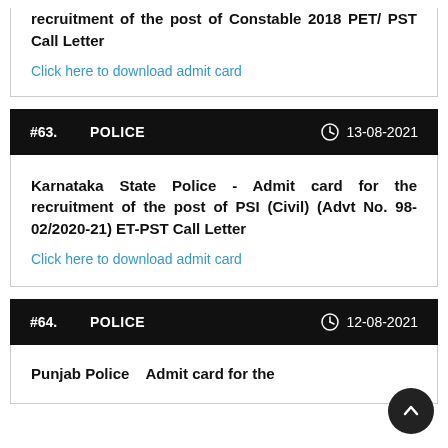recruitment of the post of Constable 2018 PET/ PST Call Letter
Click here to download admit card
#63.   POLICE   13-08-2021
Karnataka State Police - Admit card for the recruitment of the post of PSI (Civil) (Advt No. 98-02/2020-21) ET-PST Call Letter
Click here to download admit card
#64.   POLICE   12-08-2021
Punjab Police  Admit card for the